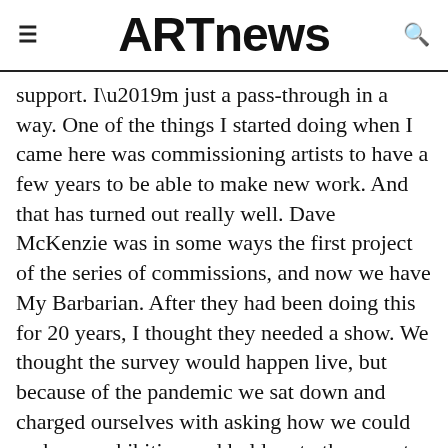ARTnews
support. I’m just a pass-through in a way. One of the things I started doing when I came here was commissioning artists to have a few years to be able to make new work. And that has turned out really well. Dave McKenzie was in some ways the first project of the series of commissions, and now we have My Barbarian. After they had been doing this for 20 years, I thought they needed a show. We thought the survey would happen live, but because of the pandemic we sat down and charged ourselves with asking how we could make an exhibition and hold on to the aspects of liveness—to have it be something in time and space that you can enter and leave on your own terms. We ended up taking 20 years of work and putting it into two hours in a video My Barbarian made as a kind of survey of their work, and then tried to create a context where the gallery is made into a theater in a way. We brought in theatrical lighting—from